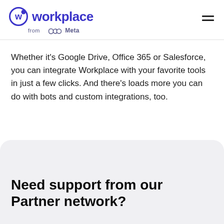workplace from Meta
Whether it's Google Drive, Office 365 or Salesforce, you can integrate Workplace with your favorite tools in just a few clicks. And there's loads more you can do with bots and custom integrations, too.
Need support from our Partner network?